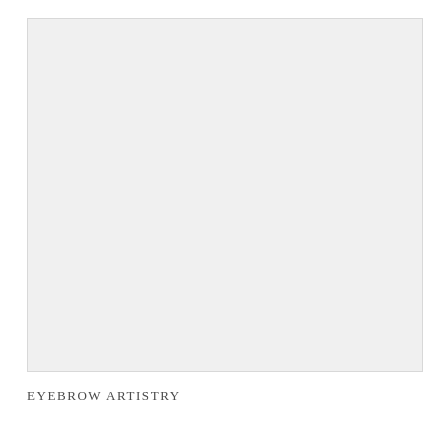[Figure (photo): Large light gray/white rectangular image placeholder area occupying most of the upper portion of the page]
EYEBROW ARTISTRY